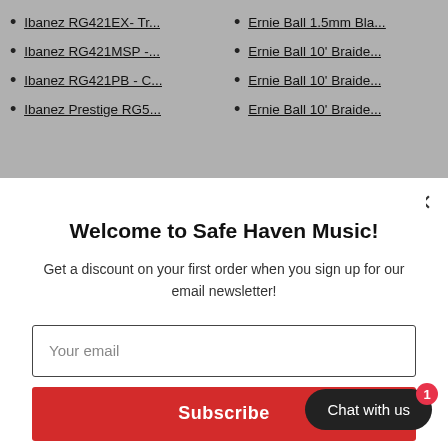Ibanez RG421EX- Tr...
Ernie Ball 1.5mm Bla...
Ibanez RG421MSP -...
Ernie Ball 10' Braide...
Ibanez RG421PB - C...
Ernie Ball 10' Braide...
Ibanez Prestige RG5...
Ernie Ball 10' Braide...
Welcome to Safe Haven Music!
Get a discount on your first order when you sign up for our email newsletter!
Your email
Subscribe
Chat with us